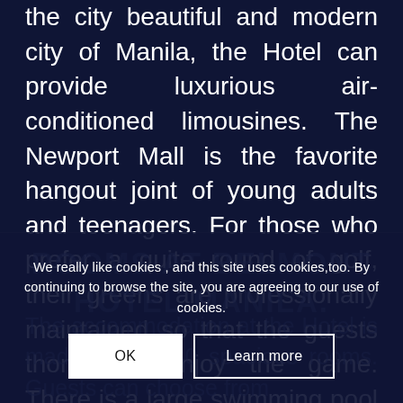the city beautiful and modern city of Manila, the Hotel can provide luxurious air-conditioned limousines. The Newport Mall is the favorite hangout joint of young adults and teenagers. For those who prefer a quite round of golf, their greens are professionally maintained so that the guests thoroughly enjoy the game. There is a large swimming pool and a smaller one for kids too.
ROOMS AT BELMONT HOTEL MANILA.
We really like cookies , and this site uses cookies,too. By continuing to browse the site, you are agreeing to our use of cookies.
The accommodation at the Hotel is made up of 480 spacious rooms. Guests can choose from